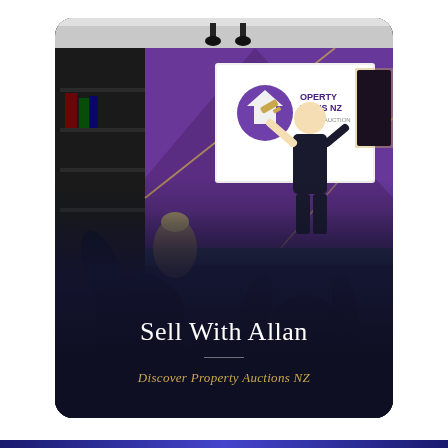[Figure (photo): A darkened interior/auction room scene with purple accent walls and a man presenting in front of a 'Property Auctions NZ' branded screen, with audience silhouettes in the foreground. Text overlay reads 'Sell With Allan' in white and 'Discover Property Auctions NZ' in gold/yellow.]